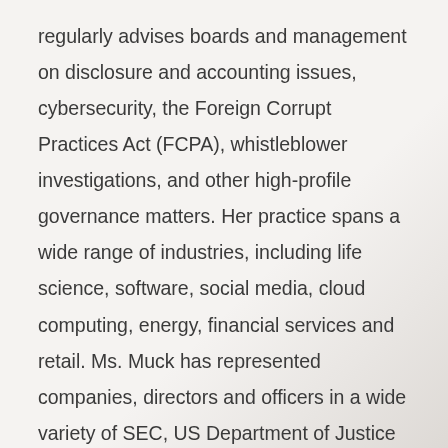regularly advises boards and management on disclosure and accounting issues, cybersecurity, the Foreign Corrupt Practices Act (FCPA), whistleblower investigations, and other high-profile governance matters. Her practice spans a wide range of industries, including life science, software, social media, cloud computing, energy, financial services and retail. Ms. Muck has represented companies, directors and officers in a wide variety of SEC, US Department of Justice and whistleblower investigations. She has also developed FCPA, UK Bribery Act, and general ethics and compliance